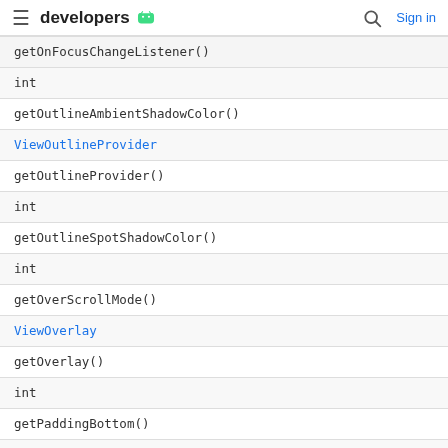developers
| getOnFocusChangeListener() |
| int |
| getOutlineAmbientShadowColor() |
| ViewOutlineProvider |
| getOutlineProvider() |
| int |
| getOutlineSpotShadowColor() |
| int |
| getOverScrollMode() |
| ViewOverlay |
| getOverlay() |
| int |
| getPaddingBottom() |
| int |